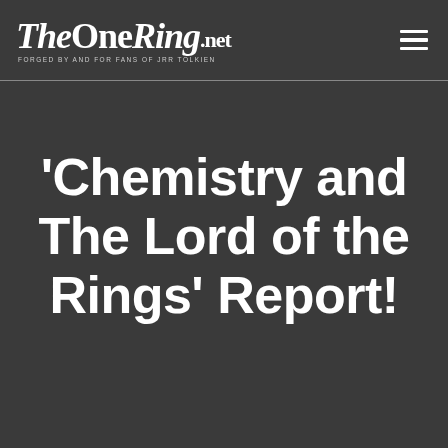TheOneRing.net — FORGED BY AND FOR FANS OF JRR TOLKIEN
'Chemistry and The Lord of the Rings' Report!